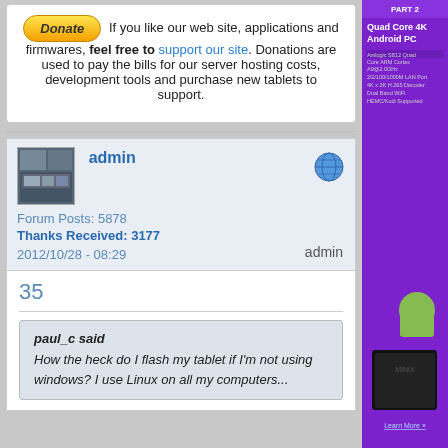If you like our web site, applications and firmwares, feel free to support our site. Donations are used to pay the bills for our server hosting costs, development tools and purchase new tablets to support.
admin
Forum Posts: 5878
Thanks Received: 3177
2012/10/28 - 08:29
admin
35
paul_c said
How the heck do I flash my tablet if I'm not using windows? I use Linux on all my computers...
[Figure (screenshot): Sidebar advertisement for a Quad Core 4K Android PC on purple background with product image]